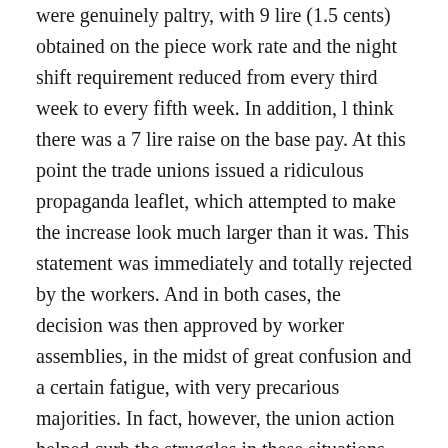were genuinely paltry, with 9 lire (1.5 cents) obtained on the piece work rate and the night shift requirement reduced from every third week to every fifth week. In addition, l think there was a 7 lire raise on the base pay. At this point the trade unions issued a ridiculous propaganda leaflet, which attempted to make the increase look much larger than it was. This statement was immediately and totally rejected by the workers. And in both cases, the decision was then approved by worker assemblies, in the midst of great confusion and a certain fatigue, with very precarious majorities. In fact, however, the union action helped curb the struggles in these situations and, obviously, in others where the struggles were completely spontaneous. The same thing happened in the carrellisti. From the trade unionists point of view, this action was aimed at re-establishing a certain production normalcy, and